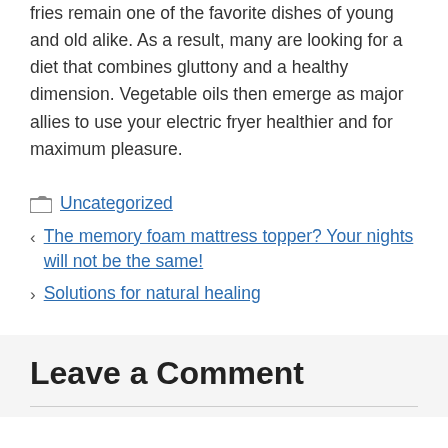fries remain one of the favorite dishes of young and old alike. As a result, many are looking for a diet that combines gluttony and a healthy dimension. Vegetable oils then emerge as major allies to use your electric fryer healthier and for maximum pleasure.
Uncategorized
< The memory foam mattress topper? Your nights will not be the same!
> Solutions for natural healing
Leave a Comment